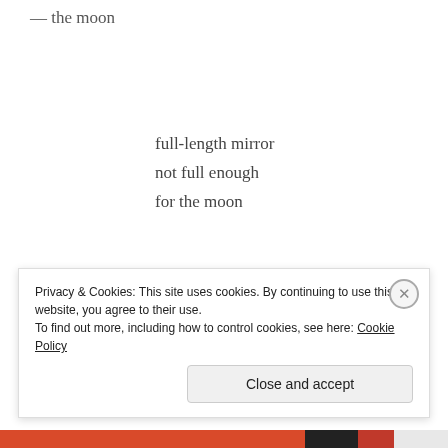— the moon
full-length mirror
not full enough
for the moon
brighter than ever
the moon tries
Privacy & Cookies: This site uses cookies. By continuing to use this website, you agree to their use.
To find out more, including how to control cookies, see here: Cookie Policy
Close and accept